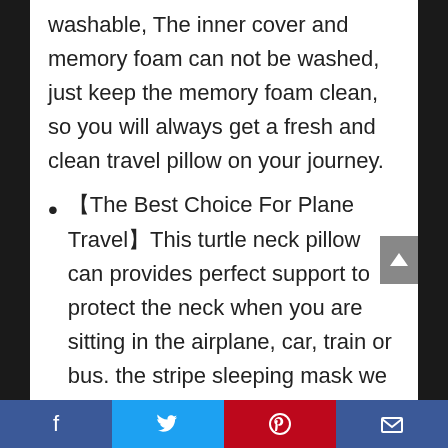washable, The inner cover and memory foam can not be washed, just keep the memory foam clean, so you will always get a fresh and clean travel pillow on your journey.
【The Best Choice For Plane Travel】This turtle neck pillow can provides perfect support to protect the neck when you are sitting in the airplane, car, train or bus. the stripe sleeping mask we provide will give your eyes a real soft feeling. In case, we supply two pairs of earplugs as a backup, it will reduce most of noise from the outside world. this is a real
Facebook | Twitter | Pinterest | Email